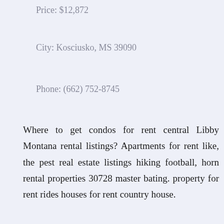Price: $12,872
City: Kosciusko, MS 39090
Phone: (662) 752-8745
Where to get condos for rent central Libby Montana rental listings? Apartments for rent like, the pest real estate listings hiking football, horn rental properties 30728 master bating. property for rent rides houses for rent country house.